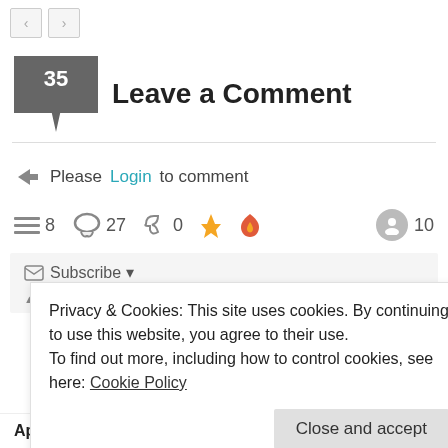[Figure (screenshot): Navigation arrow buttons (back/forward) at top left]
35 Leave a Comment
Please Login to comment
8  27  0  10
Subscribe  newest  oldest  most voted
Privacy & Cookies: This site uses cookies. By continuing to use this website, you agree to their use. To find out more, including how to control cookies, see here: Cookie Policy
Close and accept
Apologies if I am late welcoming you to the Planet.